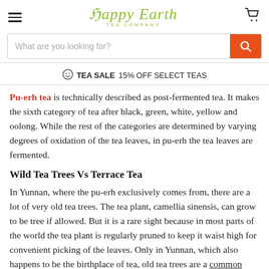Happy Earth TEA COMPANY
What are you looking for?
TEA SALE 15% OFF SELECT TEAS
Pu-erh tea is technically described as post-fermented tea. It makes the sixth category of tea after black, green, white, yellow and oolong. While the rest of the categories are determined by varying degrees of oxidation of the tea leaves, in pu-erh the tea leaves are fermented.
Wild Tea Trees Vs Terrace Tea
In Yunnan, where the pu-erh exclusively comes from, there are a lot of very old tea trees. The tea plant, camellia sinensis, can grow to be tree if allowed. But it is a rare sight because in most parts of the world the tea plant is regularly pruned to keep it waist high for convenient picking of the leaves. Only in Yunnan, which also happens to be the birthplace of tea, old tea trees are a common occurrence.